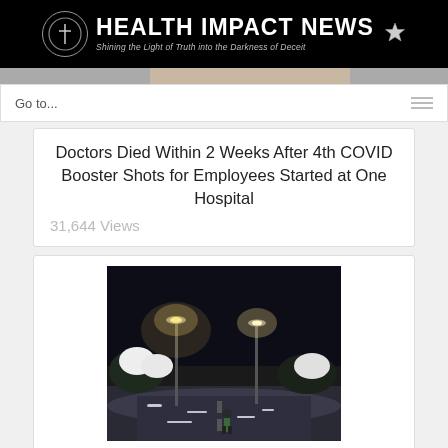HEALTH IMPACT NEWS — Shining the Light of Truth into the Darkness of Deceit
Go to...
Doctors Died Within 2 Weeks After 4th COVID Booster Shots for Employees Started at One Hospital
31,644 Views
[Figure (photo): Night winter street scene with snow on the ground, person walking, street lights illuminating the snowy road]
Winter from Hell: Europe About to...